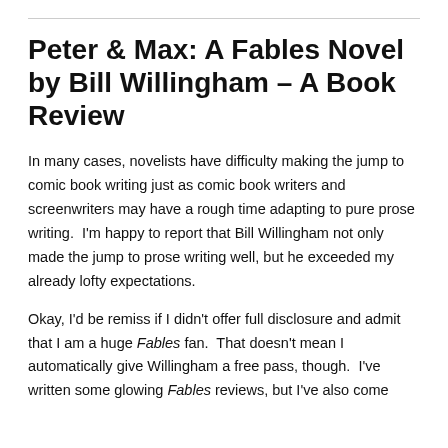Peter & Max: A Fables Novel by Bill Willingham – A Book Review
In many cases, novelists have difficulty making the jump to comic book writing just as comic book writers and screenwriters may have a rough time adapting to pure prose writing.  I'm happy to report that Bill Willingham not only made the jump to prose writing well, but he exceeded my already lofty expectations.
Okay, I'd be remiss if I didn't offer full disclosure and admit that I am a huge Fables fan.  That doesn't mean I automatically give Willingham a free pass, though.  I've written some glowing Fables reviews, but I've also come